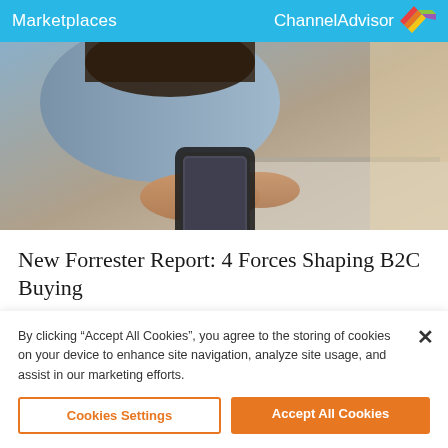Marketplaces   ChannelAdvisor
[Figure (photo): A person holding a smartphone, viewed from above with a laptop in the background.]
New Forrester Report: 4 Forces Shaping B2C Buying
READ TIME: 4 MINUTES
By clicking “Accept All Cookies”, you agree to the storing of cookies on your device to enhance site navigation, analyze site usage, and assist in our marketing efforts.
Cookies Settings
Accept All Cookies